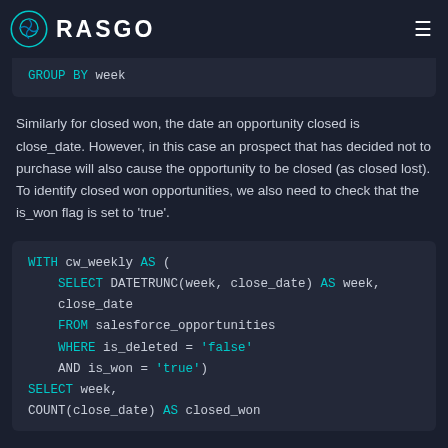RASGO
GROUP BY week
Similarly for closed won, the date an opportunity closed is close_date. However, in this case an prospect that has decided not to purchase will also cause the opportunity to be closed (as closed lost). To identify closed won opportunities, we also need to check that the is_won flag is set to 'true'.
WITH cw_weekly AS (
  SELECT DATETRUNC(week, close_date) AS week,
  close_date
  FROM salesforce_opportunities
  WHERE is_deleted = 'false'
  AND is_won = 'true')
SELECT week,
COUNT(close_date) AS closed_won